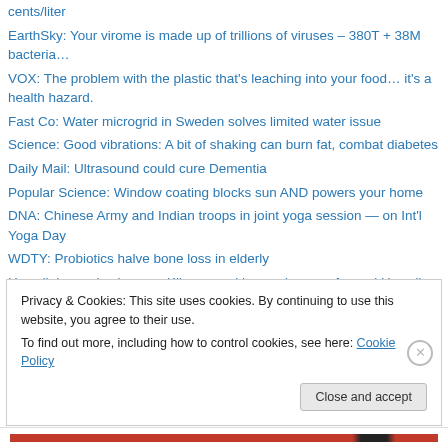cents/liter
EarthSky: Your virome is made up of trillions of viruses – 380T + 38M bacteria…
VOX: The problem with the plastic that's leaching into your food… it's a health hazard.
Fast Co: Water microgrid in Sweden solves limited water issue
Science: Good vibrations: A bit of shaking can burn fat, combat diabetes
Daily Mail: Ultrasound could cure Dementia
Popular Science: Window coating blocks sun AND powers your home
DNA: Chinese Army and Indian troops in joint yoga session — on Int'l Yoga Day
WDTY: Probiotics halve bone loss in elderly
Hawaii: Lava physics… or Kilauea and how volcanoes formed Hawaii
Privacy & Cookies: This site uses cookies. By continuing to use this website, you agree to their use. To find out more, including how to control cookies, see here: Cookie Policy